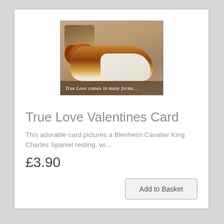[Figure (photo): A Blenheim Cavalier King Charles Spaniel resting, with a text overlay reading 'True Love comes in many forms...']
True Love Valentines Card
This adorable card pictures a Blenheim Cavalier King Charles Spaniel resting, wi...
£3.90
Add to Basket